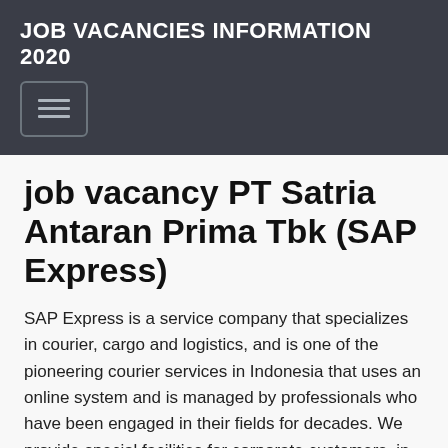JOB VACANCIES INFORMATION 2020
job vacancy PT Satria Antaran Prima Tbk (SAP Express)
SAP Express is a service company that specializes in courier, cargo and logistics, and is one of the pioneering courier services in Indonesia that uses an online system and is managed by professionals who have been engaged in their fields for decades. We provide special facilities for corporate customers, in the form of user id and log in password, which can be accessed by both single users and multiple from one side). Besides being